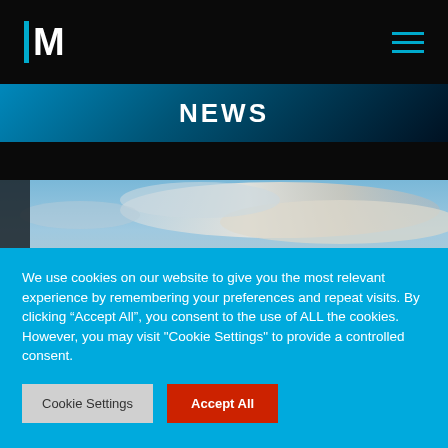IM (logo with hamburger menu)
NEWS
[Figure (photo): Sky with clouds and a faint silhouette of a structure below, partial view]
We use cookies on our website to give you the most relevant experience by remembering your preferences and repeat visits. By clicking “Accept All”, you consent to the use of ALL the cookies. However, you may visit "Cookie Settings" to provide a controlled consent.
Cookie Settings   Accept All